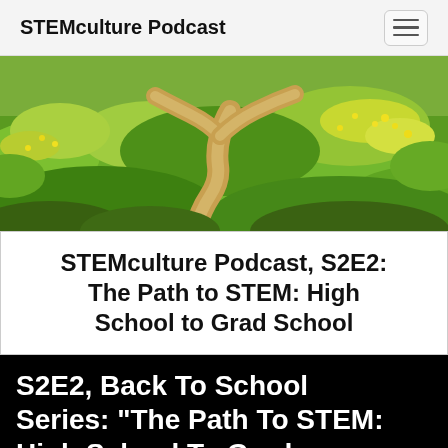STEMculture Podcast
[Figure (photo): A forking dirt path through a green grassy meadow with yellow wildflowers, viewed from ground level under daylight.]
STEMculture Podcast, S2E2: The Path to STEM: High School to Grad School
S2E2, Back To School Series: "The Path To STEM: High School To Grad School"